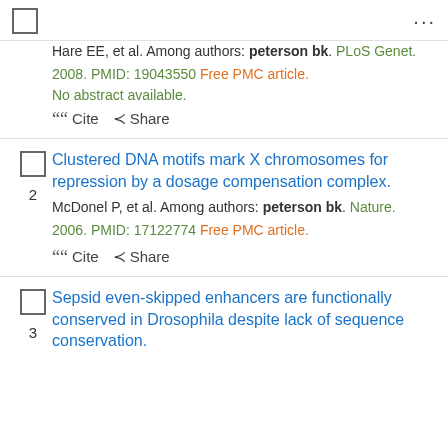…
Hare EE, et al. Among authors: peterson bk. PLoS Genet. 2008. PMID: 19043550 Free PMC article.
No abstract available.
Cite  Share
Clustered DNA motifs mark X chromosomes for repression by a dosage compensation complex.
McDonel P, et al. Among authors: peterson bk. Nature. 2006. PMID: 17122774 Free PMC article.
Cite  Share
Sepsid even-skipped enhancers are functionally conserved in Drosophila despite lack of sequence conservation.